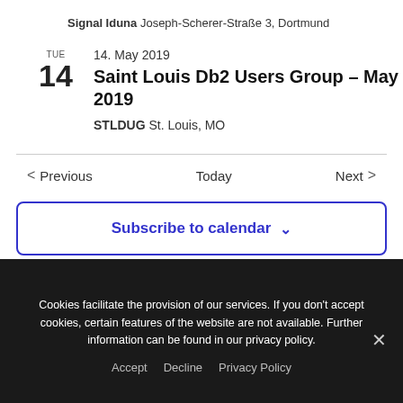Signal Iduna Joseph-Scherer-Straße 3, Dortmund
TUE
14
14. May 2019
Saint Louis Db2 Users Group – May 2019
STLDUG St. Louis, MO
< Previous   Today   Next >
Subscribe to calendar ∨
Cookies facilitate the provision of our services. If you don't accept cookies, certain features of the website are not available. Further information can be found in our privacy policy.
Accept   Decline   Privacy Policy